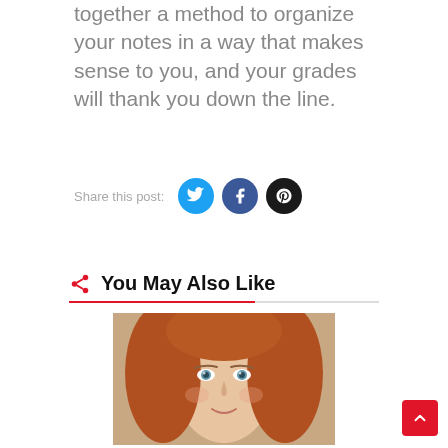together a method to organize your notes in a way that makes sense to you, and your grades will thank you down the line.
Share this post:
[Figure (infographic): Social share buttons: Twitter (blue circle), Facebook (dark blue circle), Pinterest (black circle)]
You May Also Like
[Figure (photo): Photo of a young girl with red/auburn hair and blue eyes, close-up portrait]